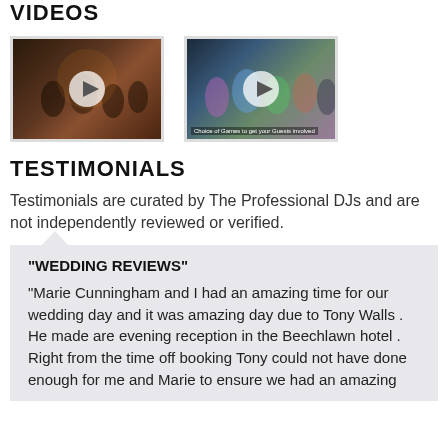VIDEOS
[Figure (screenshot): Two video thumbnails showing wedding dance floor scenes with play buttons overlaid]
TESTIMONIALS
Testimonials are curated by The Professional DJs and are not independently reviewed or verified.
"WEDDING REVIEWS"
"Marie Cunningham and I had an amazing time for our wedding day and it was amazing day due to Tony Walls . He made are evening reception in the Beechlawn hotel . Right from the time off booking Tony could not have done enough for me and Marie to ensure we had an amazing